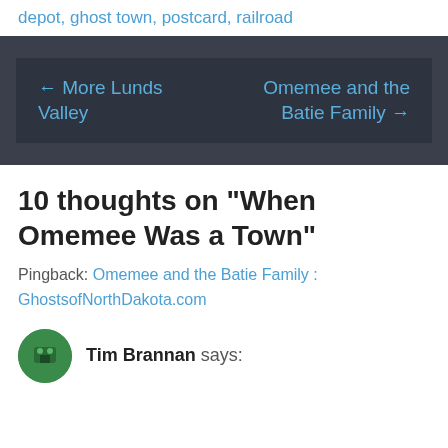depot, ghost town, postcard, railroad
[Figure (other): Navigation box with dark background showing two post navigation links: '← More Lunds Valley' on the left and 'Omemee and the Batie Family →' on the right]
10 thoughts on “When Omemee Was a Town”
Pingback: Omemee and the Batie Family : GhostsofNorthDakota.com
Tim Brannan says: